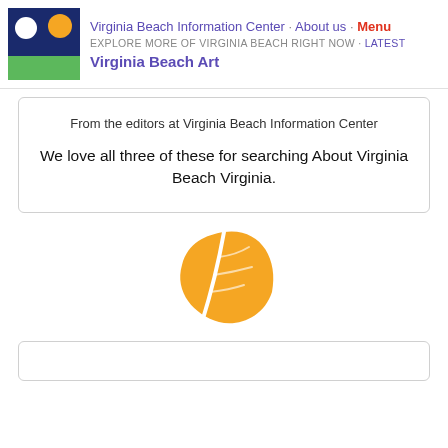Virginia Beach Information Center · About us · Menu
EXPLORE MORE OF VIRGINIA BEACH RIGHT NOW · Latest
Virginia Beach Art
From the editors at Virginia Beach Information Center
We love all three of these for searching About Virginia Beach Virginia.
[Figure (illustration): Orange leaf icon]